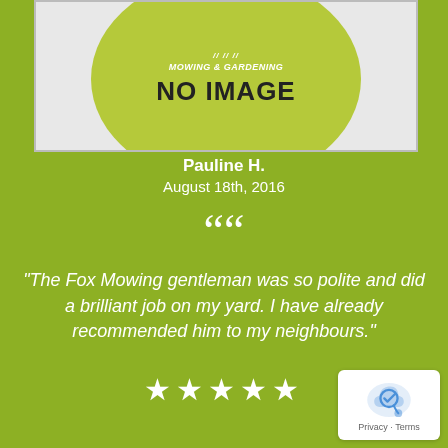[Figure (other): Placeholder image box with 'NO IMAGE' text and mowing and gardening logo on green circle background]
Pauline H.
August 18th, 2016
““
"The Fox Mowing gentleman was so polite and did a brilliant job on my yard. I have already recommended him to my neighbours."
★★★★★
[Figure (other): Google reCAPTCHA / privacy badge with Privacy - Terms text]